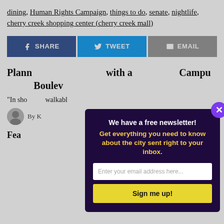dining, Human Rights Campaign, things to do, senate, nightlife, cherry creek shopping center (cherry creek mall)
[Figure (infographic): Social sharing buttons: Facebook SHARE (blue), Twitter TWEET (light blue), EMAIL (gray)]
Planned ... with a ... Campus ... Boulevard
"In shor... walkabl...
By K...
Footer label
[Figure (infographic): Newsletter signup modal overlay with dark purple background. Title: 'We have a free newsletter!' Subtitle in yellow: 'Get everything you need to know about the city sent right to your inbox.' Email input field placeholder: 'Enter your email address here...' Yellow button: 'Sign me up!' Purple close button with X in top right.]